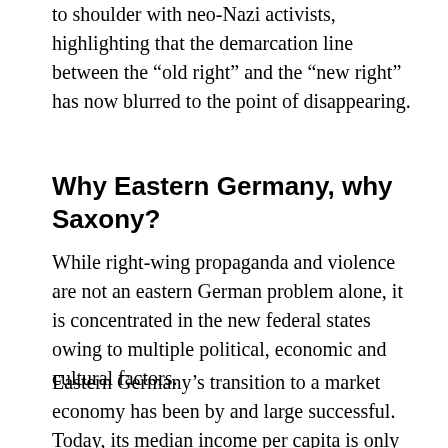to shoulder with neo-Nazi activists, highlighting that the demarcation line between the “old right” and the “new right” has now blurred to the point of disappearing.
Why Eastern Germany, why Saxony?
While right-wing propaganda and violence are not an eastern German problem alone, it is concentrated in the new federal states owing to multiple political, economic and cultural factors.
Eastern Germany’s transition to a market economy has been by and large successful. Today, its median income per capita is only slightly below the EU27-